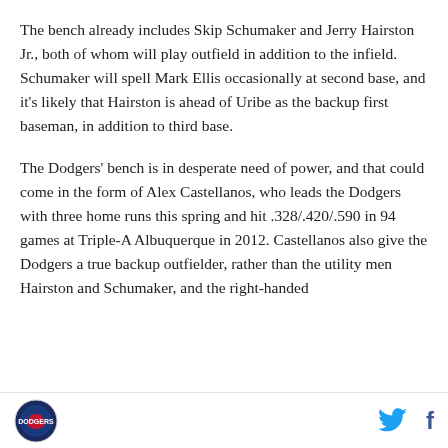The bench already includes Skip Schumaker and Jerry Hairston Jr., both of whom will play outfield in addition to the infield. Schumaker will spell Mark Ellis occasionally at second base, and it's likely that Hairston is ahead of Uribe as the backup first baseman, in addition to third base.
The Dodgers' bench is in desperate need of power, and that could come in the form of Alex Castellanos, who leads the Dodgers with three home runs this spring and hit .328/.420/.590 in 94 games at Triple-A Albuquerque in 2012. Castellanos also give the Dodgers a true backup outfielder, rather than the utility men Hairston and Schumaker, and the right-handed
[logo] [twitter] [facebook]